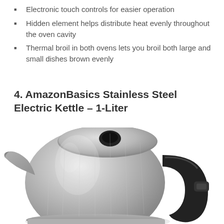Electronic touch controls for easier operation
Hidden element helps distribute heat evenly throughout the oven cavity
Thermal broil in both ovens lets you broil both large and small dishes brown evenly
4. AmazonBasics Stainless Steel Electric Kettle – 1-Liter
[Figure (photo): Photo of a stainless steel electric kettle with a black handle, shot from above-front angle on a white background.]